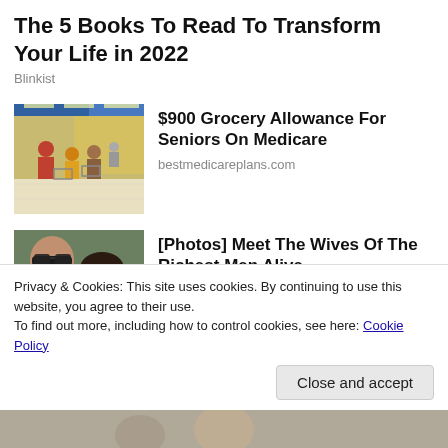The 5 Books To Read To Transform Your Life in 2022
Blinkist
[Figure (photo): People shopping in a grocery store aisle]
$900 Grocery Allowance For Seniors On Medicare
bestmedicareplans.com
[Figure (photo): Two people sitting side by side, man with sunglasses and woman with sunglasses]
[Photos] Meet The Wives Of The Richest Men Alive
Bon Voyaged
Privacy & Cookies: This site uses cookies. By continuing to use this website, you agree to their use.
To find out more, including how to control cookies, see here: Cookie Policy
Close and accept
[Figure (photo): Partial view of people at the bottom of the page]